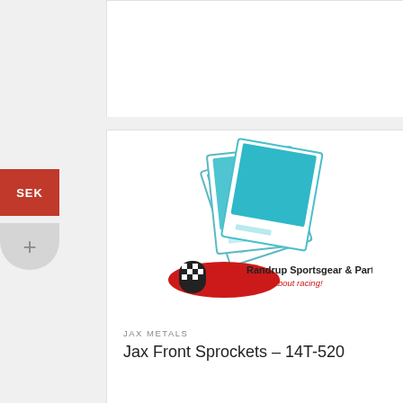[Figure (logo): Three overlapping teal polaroid-style photo cards arranged as a fan, above the Randrup Sportsgear & Parts logo with tagline 'It's all about racing!']
JAX METALS
Jax Front Sprockets – 14T-520